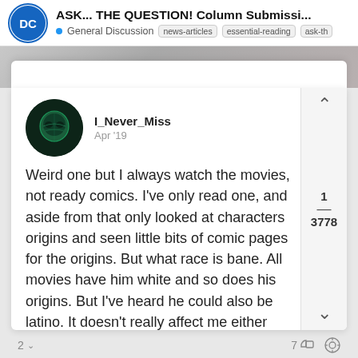ASK... THE QUESTION! Column Submissi... — General Discussion — news-articles essential-reading ask-th
I_Never_Miss
Apr '19
Weird one but I always watch the movies, not ready comics. I've only read one, and aside from that only looked at characters origins and seen little bits of comic pages for the origins. But what race is bane. All movies have him white and so does his origins. But I've heard he could also be latino. It doesn't really affect me either way but I would like to know
2   7
[Figure (screenshot): DC community forum screenshot showing a post by user I_Never_Miss dated Apr 2019 asking about Bane's race in comics vs movies]